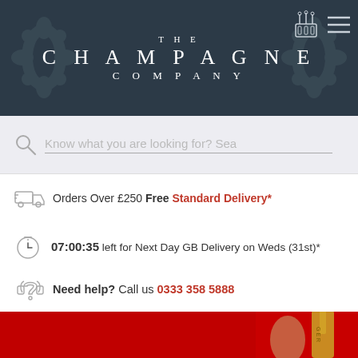[Figure (logo): The Champagne Company header with dark navy background, damask pattern overlay, bottle/crate icon and hamburger menu icon top right, and centered brand text reading THE CHAMPAGNE COMPANY]
Know what you are looking for? Sea
Orders Over £250 Free Standard Delivery*
07:00:35 left for Next Day GB Delivery on Weds (31st)*
Need help? Call us 0333 358 5888
[Figure (photo): Hand holding a gold champagne bottle against a red background, partially cropped at bottom of page]